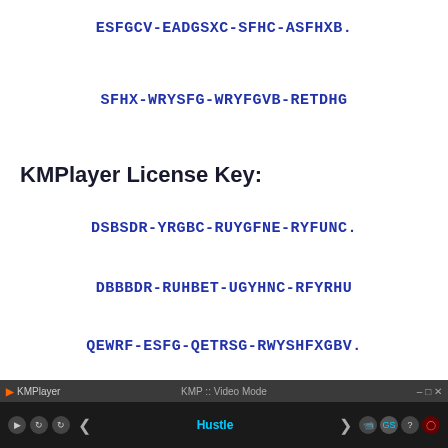ESFGCV-EADGSXC-SFHC-ASFHXB.
SFHX-WRYSFG-WRYFGVB-RETDHG
KMPlayer License Key:
DSBSDR-YRGBC-RUYGFNE-RYFUNC.
DBBBDR-RUHBET-UGYHNC-RFYRHU
QEWRF-ESFG-QETRSG-RWYSHFXGBV.
WRYSFG-RWYSFH-WRSHFD-5WUTEDGH
[Figure (screenshot): KMPlayer application window showing video mode with playback controls and track 'Hustle']